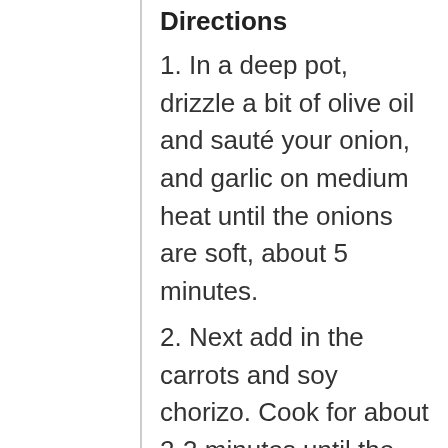Directions
1. In a deep pot, drizzle a bit of olive oil and sauté your onion, and garlic on medium heat until the onions are soft, about 5 minutes.
2. Next add in the carrots and soy chorizo. Cook for about 2-3 minutes until the ingredients are well incorporated.
3. Finally, add in the water/stock, beans, and tomato sauce. Bring to a boil then let simmer on low until reduced and thickened, about 20-30